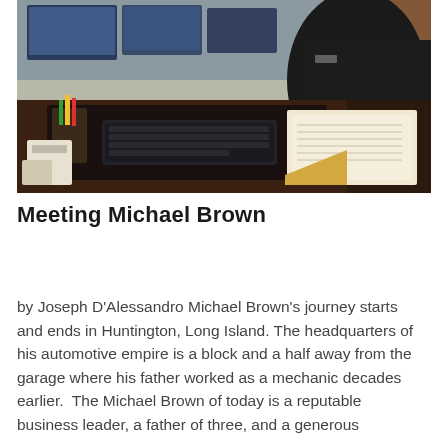[Figure (photo): A man in a dark jacket sitting at a large dark desk with a keyboard, papers, and office supplies. Computer monitors visible in background.]
Meeting Michael Brown
by Joseph D'Alessandro Michael Brown's journey starts and ends in Huntington, Long Island. The headquarters of his automotive empire is a block and a half away from the garage where his father worked as a mechanic decades earlier.  The Michael Brown of today is a reputable business leader, a father of three, and a generous